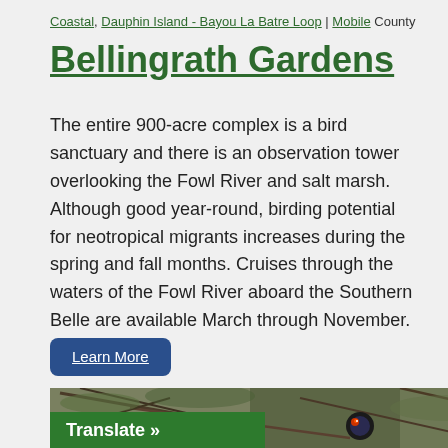Coastal, Dauphin Island - Bayou La Batre Loop | Mobile County
Bellingrath Gardens
The entire 900-acre complex is a bird sanctuary and there is an observation tower overlooking the Fowl River and salt marsh. Although good year-round, birding potential for neotropical migrants increases during the spring and fall months. Cruises through the waters of the Fowl River aboard the Southern Belle are available March through November.
Learn More
[Figure (photo): Photo of a wood duck amid branches and foliage with a 'Translate »' green bar overlay at the bottom.]